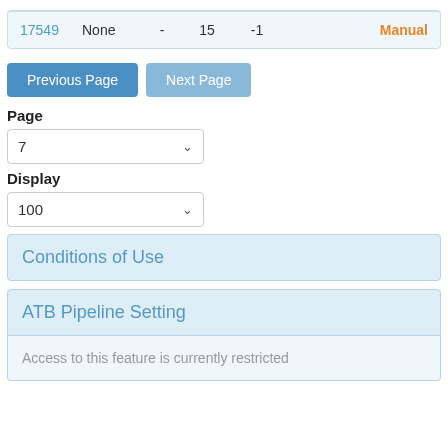| 17549 | None | - | 15 | -1 | Manual |
Previous Page
Next Page
Page
7
Display
100
Conditions of Use
ATB Pipeline Setting
Access to this feature is currently restricted